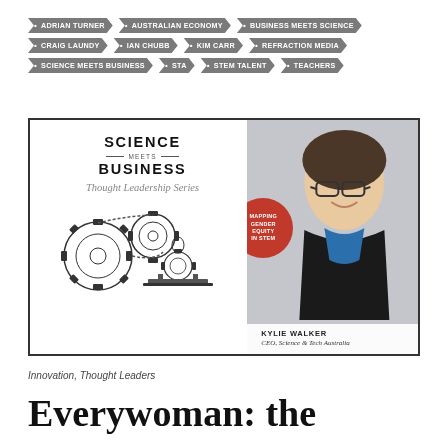ADRIAN TURNER • AUSTRALIAN ECONOMY • BUSINESS MEETS SCIENCE • CRAIG LAUNDY • IAN CHUBB • KIM CARR • REFRACTION MEDIA • SCIENCE MEETS BUSINESS • STA • STEM TALENT • TEACHERS
[Figure (illustration): Science Meets Business Thought Leadership Series banner with gear illustration and photo of Kylie Walker with 'Mapping Gender Equity in STEM' red badge. CEO, Science & Tech Australia.]
Innovation, Thought Leaders
Everywoman: the